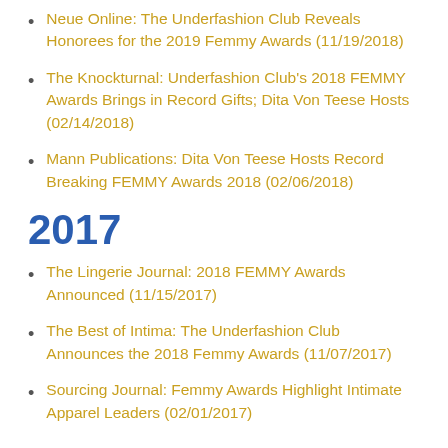Neue Online: The Underfashion Club Reveals Honorees for the 2019 Femmy Awards (11/19/2018)
The Knockturnal: Underfashion Club's 2018 FEMMY Awards Brings in Record Gifts; Dita Von Teese Hosts (02/14/2018)
Mann Publications: Dita Von Teese Hosts Record Breaking FEMMY Awards 2018 (02/06/2018)
2017
The Lingerie Journal: 2018 FEMMY Awards Announced (11/15/2017)
The Best of Intima: The Underfashion Club Announces the 2018 Femmy Awards (11/07/2017)
Sourcing Journal: Femmy Awards Highlight Intimate Apparel Leaders (02/01/2017)